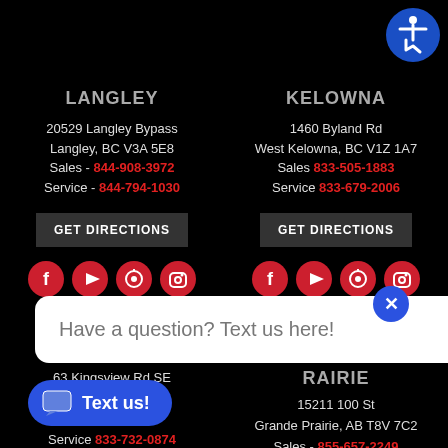[Figure (logo): Blue circle accessibility icon (wheelchair person) top right corner]
LANGLEY
20529 Langley Bypass
Langley, BC V3A 5E8
Sales - 844-908-3972
Service - 844-794-1030
GET DIRECTIONS
[Figure (infographic): Four red circle social media icons: Facebook, YouTube, Pinterest, Instagram]
KELOWNA
1460 Byland Rd
West Kelowna, BC V1Z 1A7
Sales 833-505-1883
Service 833-679-2006
GET DIRECTIONS
[Figure (infographic): Four red circle social media icons: Facebook, YouTube, Pinterest, Instagram]
Have a question? Text us here!
63 Kingsview Rd SE
...T4A 0A8
...3-1684
Service 833-732-0874
RAIRIE
15211 100 St
Grande Prairie, AB T8V 7C2
Sales - 855-657-2249
Service - 833-519-1838
Text us!